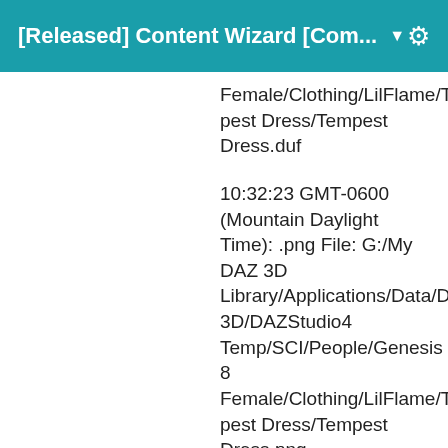[Released] Content Wizard [Com... ▼
Female/Clothing/LilFlame/Tempest Dress/Tempest Dress.duf
10:32:23 GMT-0600 (Mountain Daylight Time): .png File: G:/My DAZ 3D Library/Applications/Data/DAZ 3D/DAZStudio4 Temp/SCI/People/Genesis 8 Female/Clothing/LilFlame/Tempest Dress/Tempest Dress.png
10:32:23 GMT-0600 (Mountain Daylight Time): wearable File: G:/My DAZ 3D Library/Applications/Data/DAZ 3D/DAZStudio4